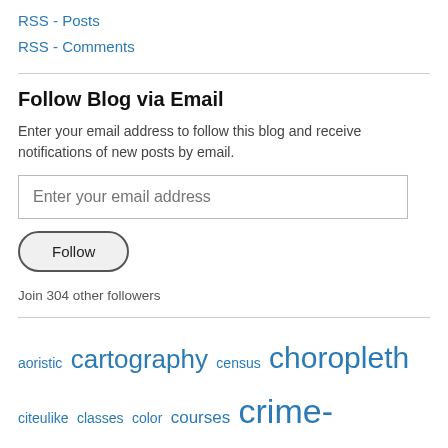RSS - Posts
RSS - Comments
Follow Blog via Email
Enter your email address to follow this blog and receive notifications of new posts by email.
Enter your email address
Follow
Join 304 other followers
aoristic cartography census choropleth citeulike classes color courses crime-mapping crime-trends Crime Analysis Criminal